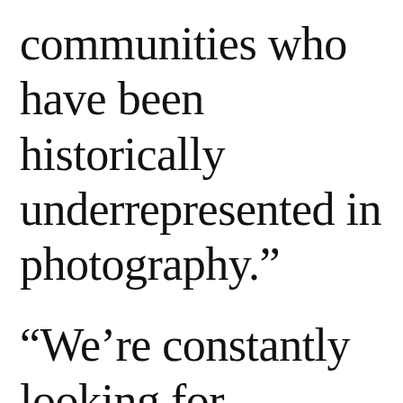communities who have been historically underrepresented in photography.”
“We’re constantly looking for photographers to shoot